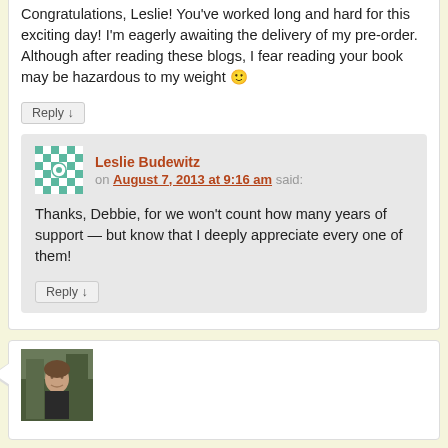Congratulations, Leslie! You've worked long and hard for this exciting day! I'm eagerly awaiting the delivery of my pre-order. Although after reading these blogs, I fear reading your book may be hazardous to my weight 🙂
Reply ↓
Leslie Budewitz on August 7, 2013 at 9:16 am said:
Thanks, Debbie, for we won't count how many years of support — but know that I deeply appreciate every one of them!
Reply ↓